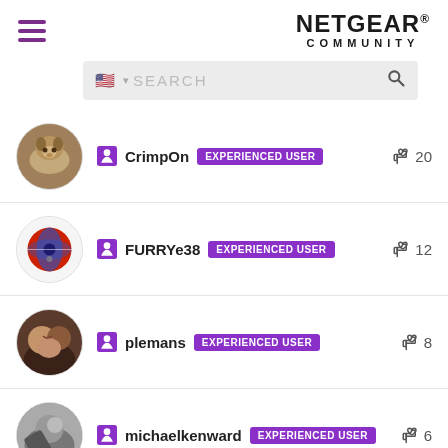NETGEAR COMMUNITY
[Figure (screenshot): Search bar with US flag and magnifying glass icon]
CrimpOn EXPERIENCED USER 20 likes
FURRYe38 EXPERIENCED USER 12 likes
plemans EXPERIENCED USER 8 likes
michaelkenward EXPERIENCED USER 6 likes
LW (partial) likes: 3